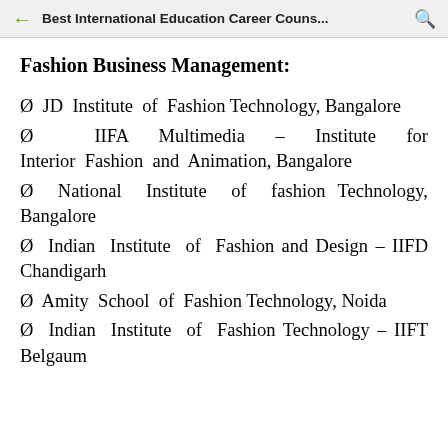Best International Education Career Couns...
Fashion Business Management:
Ø JD Institute of Fashion Technology, Bangalore
Ø IIFA Multimedia – Institute for Interior Fashion and Animation, Bangalore
Ø National Institute of fashion Technology, Bangalore
Ø Indian Institute of Fashion and Design – IIFD Chandigarh
Ø Amity School of Fashion Technology, Noida
Ø Indian Institute of Fashion Technology – IIFT Belgaum